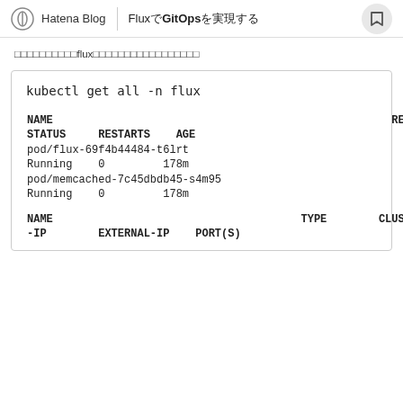Hatena Blog | FluxでGitOpsを実現する
fluxのリソースが正常に稼働していることを確認します
| NAME | READY | STATUS | RESTARTS | AGE |
| --- | --- | --- | --- | --- |
| kubectl get all -n flux |  |  |  |  |
| pod/flux-69f4b44484-t6lrt | 1/1 | Running | 0 | 178m |
| pod/memcached-7c45dbdb45-s4m95 | 1/1 | Running | 0 | 178m |
| NAME | TYPE | CLUSTER-IP | EXTERNAL-IP | PORT(S) |
| -IP | EXTERNAL-IP | PORT(S) | AGE |  |